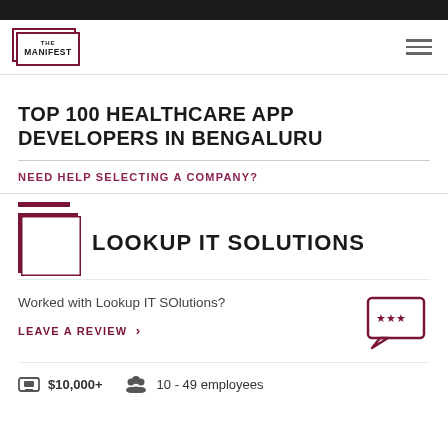THE MANIFEST
TOP 100 HEALTHCARE APP DEVELOPERS IN BENGALURU
NEED HELP SELECTING A COMPANY?
[Figure (logo): Lookup IT Solutions company logo placeholder square]
LOOKUP IT SOLUTIONS
Worked with Lookup IT SOlutions?
LEAVE A REVIEW >
$10,000+
10 - 49 employees